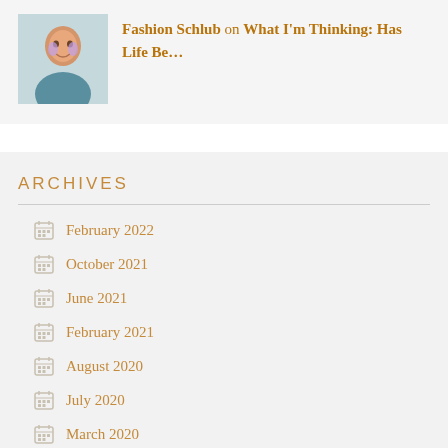[Figure (photo): Small avatar photo of a woman smiling, wearing a light blue top and earrings]
Fashion Schlub on What I'm Thinking: Has Life Be...
ARCHIVES
February 2022
October 2021
June 2021
February 2021
August 2020
July 2020
March 2020
February 2020